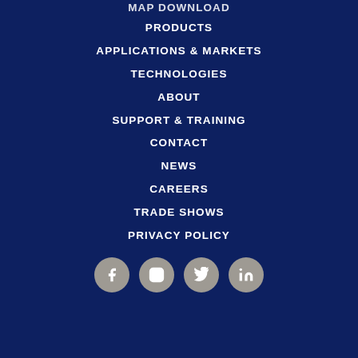MAP DOWNLOAD
PRODUCTS
APPLICATIONS & MARKETS
TECHNOLOGIES
ABOUT
SUPPORT & TRAINING
CONTACT
NEWS
CAREERS
TRADE SHOWS
PRIVACY POLICY
[Figure (other): Social media icons row: Facebook, Instagram, Twitter, LinkedIn]